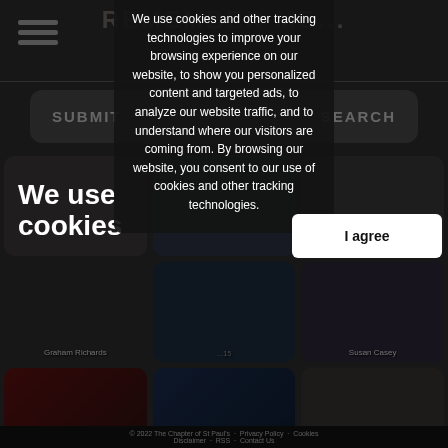REMEMBER ME...
We use cookies
We use cookies and other tracking technologies to improve your browsing experience on our website, to show you personalized content and targeted ads, to analyze our website traffic, and to understand where our visitors are coming from. By browsing our website, you consent to our use of cookies and other tracking technologies.
I agree
Graham Richards
Susan Casey
Stephen Kearns
Peter Cameron
© 2022 The Chapter of St Paul's · Privacy Policy · Cookies · Disclaimer · RSS · Contact Us